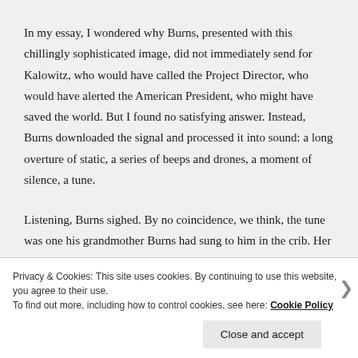In my essay, I wondered why Burns, presented with this chillingly sophisticated image, did not immediately send for Kalowitz, who would have called the Project Director, who would have alerted the American President, who might have saved the world. But I found no satisfying answer. Instead, Burns downloaded the signal and processed it into sound: a long overture of static, a series of beeps and drones, a moment of silence, a tune.
Listening, Burns sighed. By no coincidence, we think, the tune was one his grandmother Burns had sung to him in the crib. Her sweet face came to his eyes that night, and her breath to his nose
Privacy & Cookies: This site uses cookies. By continuing to use this website, you agree to their use.
To find out more, including how to control cookies, see here: Cookie Policy
Close and accept